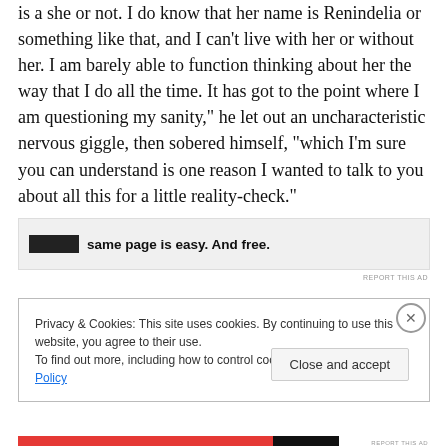is a she or not. I do know that her name is Renindelia or something like that, and I can't live with her or without her. I am barely able to function thinking about her the way that I do all the time. It has got to the point where I am questioning my sanity," he let out an uncharacteristic nervous giggle, then sobered himself, "which I'm sure you can understand is one reason I wanted to talk to you about all this for a little reality-check."
[Figure (other): Advertisement banner with logo and text: 'same page is easy. And free.']
Privacy & Cookies: This site uses cookies. By continuing to use this website, you agree to their use.
To find out more, including how to control cookies, see here: Cookie Policy